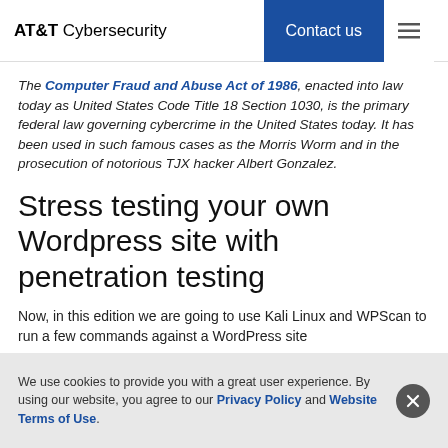AT&T Cybersecurity | Contact us
The Computer Fraud and Abuse Act of 1986, enacted into law today as United States Code Title 18 Section 1030, is the primary federal law governing cybercrime in the United States today. It has been used in such famous cases as the Morris Worm and in the prosecution of notorious TJX hacker Albert Gonzalez.
Stress testing your own Wordpress site with penetration testing
Now, in this edition we are going to use Kali Linux and WPScan to run a few commands against a WordPress site
We use cookies to provide you with a great user experience. By using our website, you agree to our Privacy Policy and Website Terms of Use.